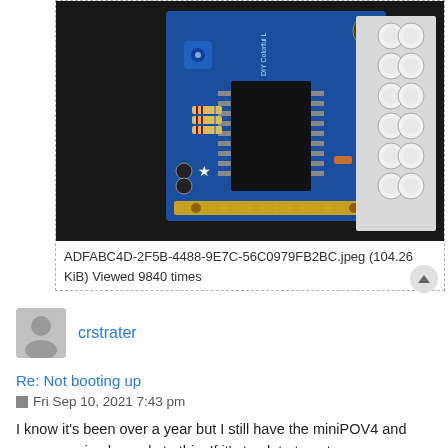[Figure (photo): Photo of a DIY Colorful LED circuit board (miniPOV4) with blue PCB, large IC chip, resistors, capacitors, and a row of white LEDs on the right side, on a dark background.]
ADFABC4D-2F5B-4488-9E7C-56C0979FB2BC.jpeg (104.26 KiB) Viewed 9840 times
crstrater
Re: Not booting up
Fri Sep 10, 2021 7:43 pm
I know it's been over a year but I still have the miniPOV4 and never received a reply to this. If it's too late to get a